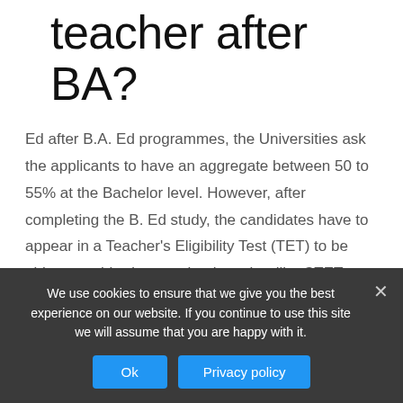teacher after BA?
Ed after B.A. Ed programmes, the Universities ask the applicants to have an aggregate between 50 to 55% at the Bachelor level. However, after completing the B. Ed study, the candidates have to appear in a Teacher's Eligibility Test (TET) to be able to get hired as a school teacher like CTET, UPTET, KTET etc.
What is the
maximum age to
We use cookies to ensure that we give you the best experience on our website. If you continue to use this site we will assume that you are happy with it.